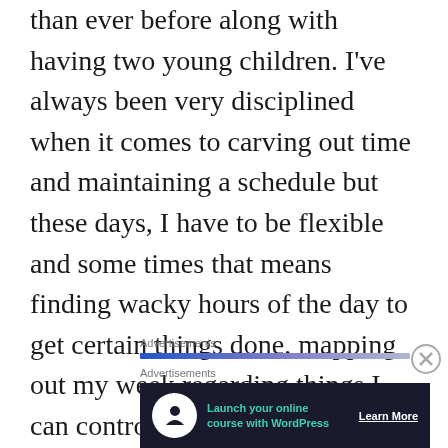than ever before along with having two young children. I've always been very disciplined when it comes to carving out time and maintaining a schedule but these days, I have to be flexible and some times that means finding wacky hours of the day to get certain things done, mapping out my week regarding things I can control such as when I'll watch this, when I'll write about that, and usually the pieces come together.
Advertisements
[Figure (other): Horizontal gradient advertisement bar going from blue to purple/grey]
Advertisements
[Figure (other): Advertisement banner with dark navy background, circular white icon with tree/person logo, teal text 'Launch your online course with WordPress', and white 'Learn More' call-to-action button]